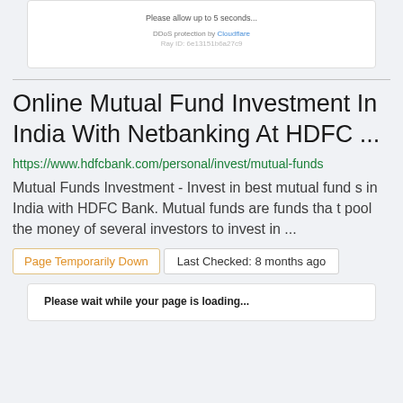[Figure (screenshot): Cloudflare DDoS protection loading screen with text 'Please allow up to 5 seconds...', 'DDoS protection by Cloudflare', and 'Ray ID: ...']
Online Mutual Fund Investment In India With Netbanking At HDFC ...
https://www.hdfcbank.com/personal/invest/mutual-funds
Mutual Funds Investment - Invest in best mutual funds in India with HDFC Bank. Mutual funds are funds that pool the money of several investors to invest in ...
Page Temporarily Down
Last Checked: 8 months ago
[Figure (screenshot): Loading page with text 'Please wait while your page is loading...']